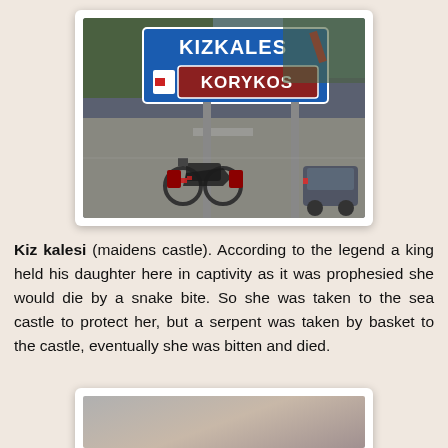[Figure (photo): Road sign showing KIZKALES and KORYKOS on a blue sign with road marking, motorcycle on road in foreground, trees and highway in background]
Kiz kalesi (maidens castle). According to the legend a king held his daughter here in captivity as it was prophesied she would die by a snake bite. So she was taken to the sea castle to protect her, but a serpent was taken by basket to the castle, eventually she was bitten and died.
[Figure (photo): Partially visible photo at bottom, appears to show a grey/hazy landscape or seascape]